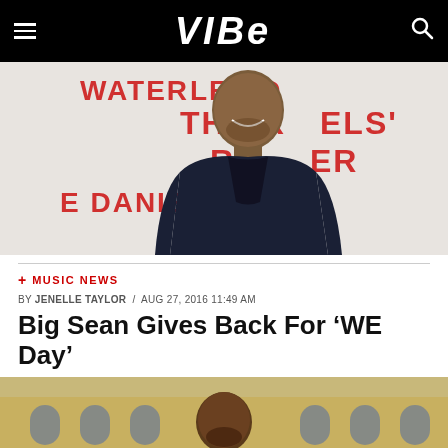VIBE
[Figure (photo): Man in black suit jacket smiling at event, standing in front of a white step-and-repeat banner with red text reading LEE DANIELS' THE [something] and partial text E DANIEL]
+ MUSIC NEWS
BY JENELLE TAYLOR / AUG 27, 2016 11:49 AM
Big Sean Gives Back For ‘WE Day’
[Figure (photo): Big Sean photographed outdoors in front of a building with arched windows, looking at camera]